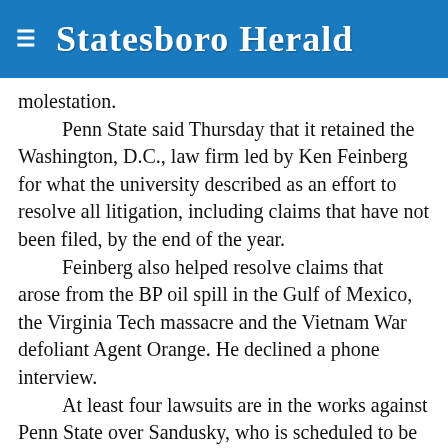Statesboro Herald
molestation.
    Penn State said Thursday that it retained the Washington, D.C., law firm led by Ken Feinberg for what the university described as an effort to resolve all litigation, including claims that have not been filed, by the end of the year.
    Feinberg also helped resolve claims that arose from the BP oil spill in the Gulf of Mexico, the Virginia Tech massacre and the Vietnam War defoliant Agent Orange. He declined a phone interview.
    At least four lawsuits are in the works against Penn State over Sandusky, who is scheduled to be sentenced next month for sexually abusing 10 boys.
    Lawyers for Sandusky's victims from the criminal case and other potential claimants had said recently